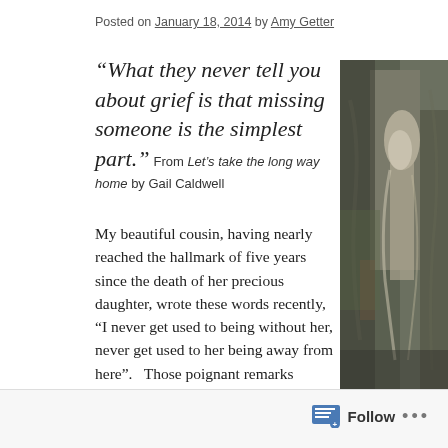Posted on January 18, 2014 by Amy Getter
“What they never tell you about grief is that missing someone is the simplest part.”  From Let’s take the long way home by Gail Caldwell
[Figure (photo): A painting or artwork showing an ethereal figure, muted tones of grey, green, and tan, abstract style.]
My beautiful cousin, having nearly reached the hallmark of five years since the death of her precious daughter, wrote these words recently, “I never get used to being without her, never get used to her being away from here”.   Those poignant remarks reminded me of the reality of loss…we will always grieve when someone we love is no longer physically living in our lives…though our lives do go on, even when it seems they might not al
Follow •••